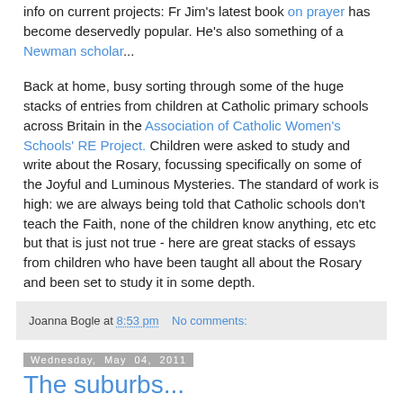info on current projects: Fr Jim's latest book on prayer has become deservedly popular. He's also something of a Newman scholar...
Back at home, busy sorting through some of the huge stacks of entries from children at Catholic primary schools across Britain in the Association of Catholic Women's Schools' RE Project. Children were asked to study and write about the Rosary, focussing specifically on some of the Joyful and Luminous Mysteries. The standard of work is high: we are always being told that Catholic schools don't teach the Faith, none of the children know anything, etc etc but that is just not true - here are great stacks of essays from children who have been taught all about the Rosary and been set to study it in some depth.
Joanna Bogle at 8:53 pm   No comments:
Wednesday, May 04, 2011
The suburbs...